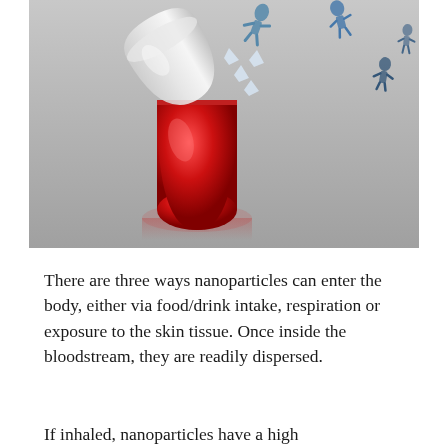[Figure (photo): A medical capsule pill opened at the top with small blue nano-robot figures flying out of it, on a gray gradient background. The capsule is red on the bottom half and silver/transparent on the top half.]
There are three ways nanoparticles can enter the body, either via food/drink intake, respiration or exposure to the skin tissue. Once inside the bloodstream, they are readily dispersed.
If inhaled, nanoparticles have a high